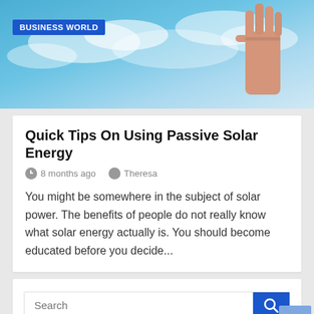[Figure (photo): Hero image showing a fist raised against a blue sky with clouds, with a blue 'BUSINESS WORLD' badge overlay]
Quick Tips On Using Passive Solar Energy
8 months ago   Theresa
You might be somewhere in the subject of solar power. The benefits of people do not really know what solar energy actually is. You should become educated before you decide...
Search
aluminum foil   athletic shoes   body shape